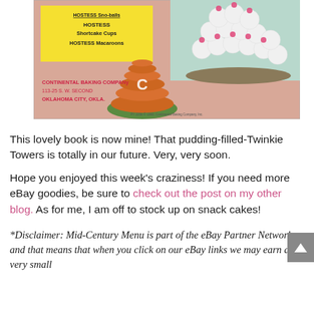[Figure (photo): Scan of a vintage Hostess snack cake recipe booklet cover showing Shortcake Cups and Macaroons, with text 'CONTINENTAL BAKING COMPANY, 113-25 S. W. SECOND, OKLAHOMA CITY, OKLA.' A Twinkie tower dessert and coconut ball arrangement are visible. Copyright 1960 Continental Baking Company Inc.]
This lovely book is now mine! That pudding-filled-Twinkie Towers is totally in our future. Very, very soon.
Hope you enjoyed this week's craziness! If you need more eBay goodies, be sure to check out the post on my other blog. As for me, I am off to stock up on snack cakes!
*Disclaimer: Mid-Century Menu is part of the eBay Partner Network, and that means that when you click on our eBay links we may earn a very small